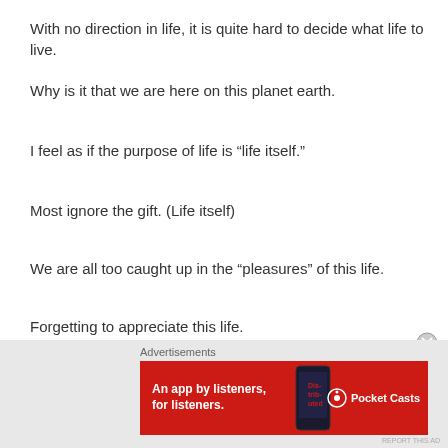With no direction in life, it is quite hard to decide what life to live.
Why is it that we are here on this planet earth.
I feel as if the purpose of life is “life itself.”
Most ignore the gift. (Life itself)
We are all too caught up in the “pleasures” of this life.
Forgetting to appreciate this life.
With zero breaks to catch your breath.
There is never a moment to be or to stay calm.
Advertisements
[Figure (other): Advertisement banner for Pocket Casts: red background with text 'An app by listeners, for listeners.' and Pocket Casts logo]